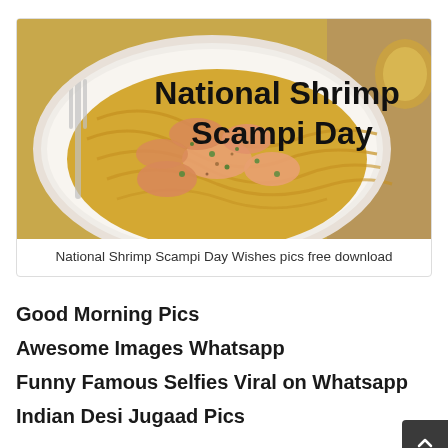[Figure (photo): Shrimp scampi dish with pasta on a white plate, with text overlay reading 'National Shrimp Scampi Day']
National Shrimp Scampi Day Wishes pics free download
Good Morning Pics
Awesome Images Whatsapp
Funny Famous Selfies Viral on Whatsapp
Indian Desi Jugaad Pics